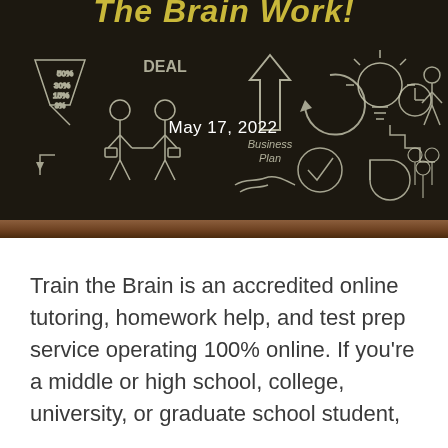[Figure (illustration): A chalkboard with chalk-drawn business icons including a funnel, two businessmen shaking hands, an upward arrow, a lightbulb, a clock, a pie chart, a checkmark, a Business Plan label, and stick figures around a table. The date 'May 17, 2022' is overlaid in white text at the center. The chalkboard rests on a wooden ledge. The top of the image is partially cropped, showing the bottom portion of a bold italic title in gold/yellow text reading 'The Brain Work!'.]
Train the Brain is an accredited online tutoring, homework help, and test prep service operating 100% online. If you're a middle or high school, college, university, or graduate school student,